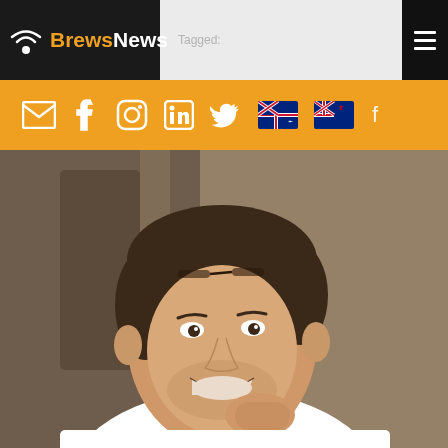BrewsNews — Tagged
[Figure (photo): Navigation bar with social media icons: email, Facebook, Instagram, LinkedIn, Twitter, Australian flag, New Zealand flag, and a partially visible icon on the right]
[Figure (photo): Portrait photo of a smiling young man with short dark hair, wearing a white t-shirt, resting his chin/hand near his face, photographed against a blurred warm indoor background]